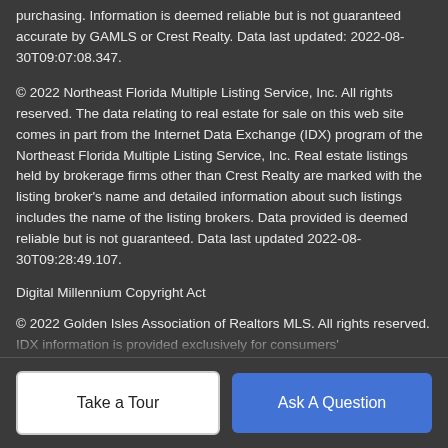purchasing. Information is deemed reliable but is not guaranteed accurate by GAMLS or Crest Realty. Data last updated: 2022-08-30T09:07:08.347.
© 2022 Northeast Florida Multiple Listing Service, Inc. All rights reserved. The data relating to real estate for sale on this web site comes in part from the Internet Data Exchange (IDX) program of the Northeast Florida Multiple Listing Service, Inc. Real estate listings held by brokerage firms other than Crest Realty are marked with the listing broker's name and detailed information about such listings includes the name of the listing brokers. Data provided is deemed reliable but is not guaranteed. Data last updated 2022-08-30T09:28:49.107.
Digital Millennium Copyright Act
© 2022 Golden Isles Association of Realtors MLS. All rights reserved. IDX information is provided exclusively for consumers'